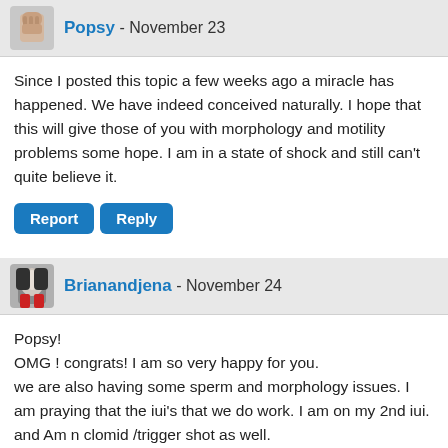Popsy - November 23
Since I posted this topic a few weeks ago a miracle has happened. We have indeed conceived naturally. I hope that this will give those of you with morphology and motility problems some hope. I am in a state of shock and still can't quite believe it.
Report  Reply
Brianandjena - November 24
Popsy!
OMG ! congrats! I am so very happy for you.
we are also having some sperm and morphology issues. I am praying that the iui's that we do work. I am on my 2nd iui. and Am n clomid /trigger shot as well.
I am not sure about all the numbers but I know his count is